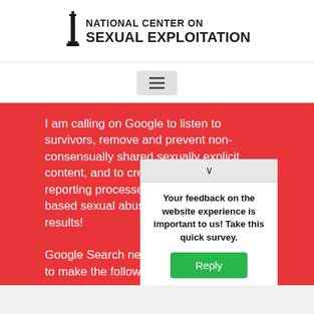[Figure (logo): National Center on Sexual Exploitation logo with column icon and organization name text]
[Figure (screenshot): Hamburger menu button (three horizontal lines) in a gray rounded rectangle]
I am calling on Google to listen to survivors, remove and prevent non-consensually shared sexually explicit content, and to create survivor-centered reporting processes to remove image-based sexual abuse from Google Search results!
Google Search needs to make the follow...
Your feedback on the website experience is important to us! Take this quick survey.
Reply